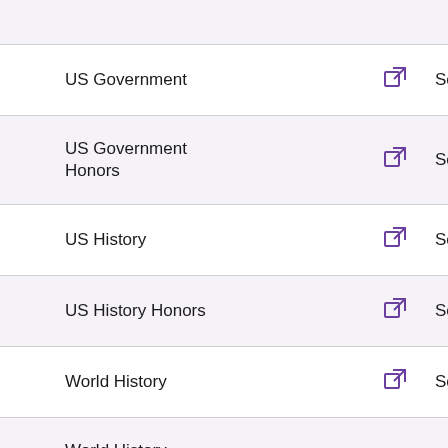| Course |  | Subject |
| --- | --- | --- |
| US Government | [link] | Social Stud |
| US Government Honors | [link] | Social Stud |
| US History | [link] | Social Stud |
| US History Honors | [link] | Social Stud |
| World History | [link] | Social Stud |
| World History Honors | [link] | Social Stud |